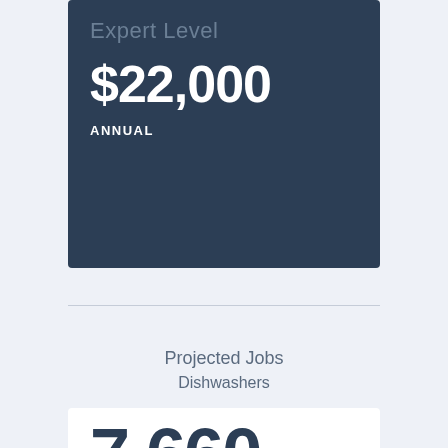Expert Level
$22,000
ANNUAL
Projected Jobs
Dishwashers
7,660